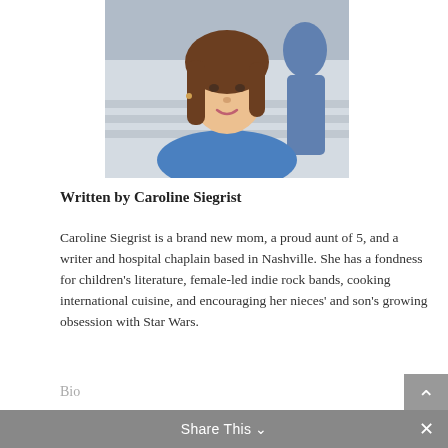[Figure (photo): Headshot photo of Caroline Siegrist, a woman with brown hair wearing a blue jacket, photographed outdoors on steps]
Written by Caroline Siegrist
Caroline Siegrist is a brand new mom, a proud aunt of 5, and a writer and hospital chaplain based in Nashville. She has a fondness for children's literature, female-led indie rock bands, cooking international cuisine, and encouraging her nieces' and son's growing obsession with Star Wars.
Bio
Twitter
Instagram
Share This